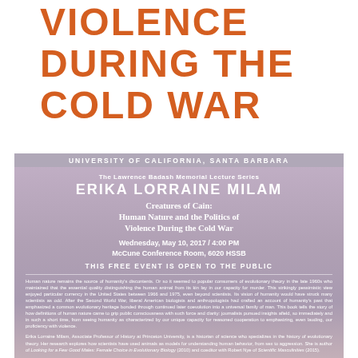VIOLENCE DURING THE COLD WAR
[Figure (infographic): University of California, Santa Barbara event flyer for The Lawrence Badash Memorial Lecture Series featuring Erika Lorraine Milam presenting 'Creatures of Cain: Human Nature and the Politics of Violence During the Cold War' on Wednesday, May 10, 2017 / 4:00 PM, McCune Conference Room, 6020 HSSB. This free event is open to the public. Contains descriptive text about human nature and a biography of the speaker.]